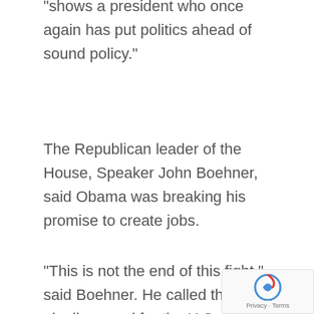“shows a president who once again has put politics ahead of sound policy.”
The Republican leader of the House, Speaker John Boehner, said Obama was breaking his promise to create jobs.
“This is not the end of this fight,” said Boehner. He called the pipeline good for the U.S. economy and a major job creator.
The pipeline proposal has forced the